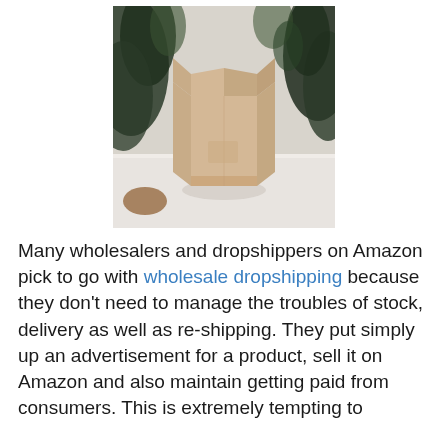[Figure (photo): A cardboard shipping box standing open on a white surface, with green leafy plants in the background.]
Many wholesalers and dropshippers on Amazon pick to go with wholesale dropshipping because they don't need to manage the troubles of stock, delivery as well as re-shipping. They put simply up an advertisement for a product, sell it on Amazon and also maintain getting paid from consumers. This is extremely tempting to